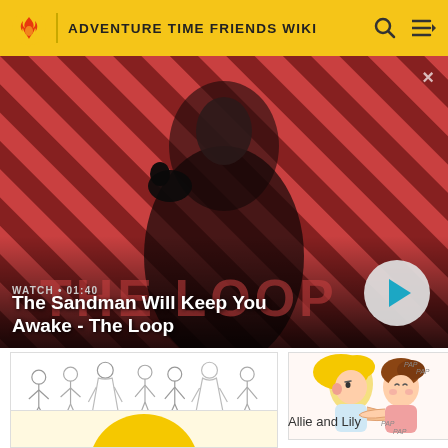ADVENTURE TIME FRIENDS WIKI
[Figure (screenshot): Video banner showing a dark-clothed figure with a raven on shoulder against diagonal red and dark stripe background. Title reads 'The Sandman Will Keep You Awake - The Loop'. Duration 01:40. Play button on right.]
[Figure (illustration): Hand-drawn sketch of Allie along with other campers, signed Dissideffor]
Allie along with other campers
[Figure (illustration): Cartoon illustration of two characters hugging, labeled 'PAP PAP PAP', Allie and Lily]
Allie and Lily
[Figure (illustration): Partial view of a yellow cartoon character at bottom left]